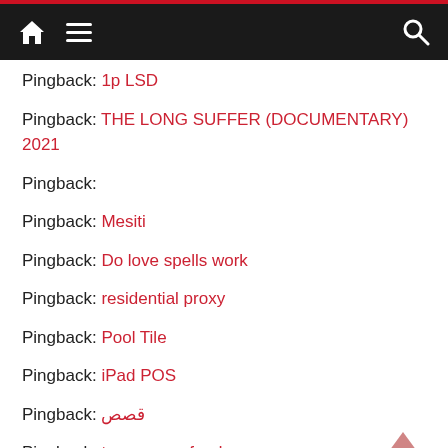Navigation bar with home, menu, and search icons
Pingback: 1p LSD
Pingback: THE LONG SUFFER (DOCUMENTARY) 2021
Pingback:
Pingback: Mesiti
Pingback: Do love spells work
Pingback: residential proxy
Pingback: Pool Tile
Pingback: iPad POS
Pingback: قصص
Pingback: texas superfood amazon